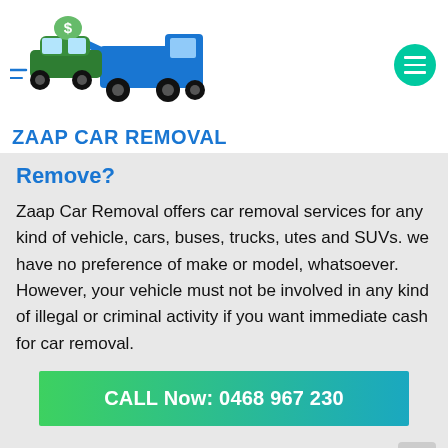[Figure (logo): Zaap Car Removal logo: green car with dollar sign on hood being loaded onto a blue tow truck]
[Figure (other): Green circular hamburger menu button with three white horizontal lines]
ZAAP CAR REMOVAL
Remove?
Zaap Car Removal offers car removal services for any kind of vehicle, cars, buses, trucks, utes and SUVs. we have no preference of make or model, whatsoever. However, your vehicle must not be involved in any kind of illegal or criminal activity if you want immediate cash for car removal.
CALL Now: 0468 967 230
[Figure (other): Gray square back-to-top button with white upward arrow]